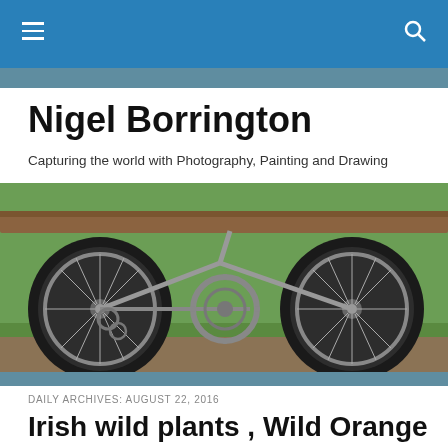Nigel Borrington blog navigation bar
Nigel Borrington
Capturing the world with Photography, Painting and Drawing
[Figure (photo): Close-up photograph of a bicycle showing two wheels, spokes, chain, gears and chainring, parked on grass near a bench]
DAILY ARCHIVES: AUGUST 22, 2016
Irish wild plants , Wild Orange Crocosmia